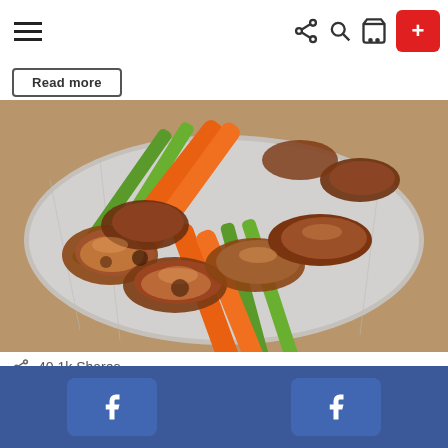Navigation bar with hamburger menu, share/search/cart icons, and red plus button
Read more
[Figure (photo): Crockpot chicken wings with carrots and celery on a foil-lined tray]
40.1k Shares
Crockpot Chicken Wings: 3 Ways + VIDEO
by Allfoodrecipes
Facebook share bar with two Facebook buttons